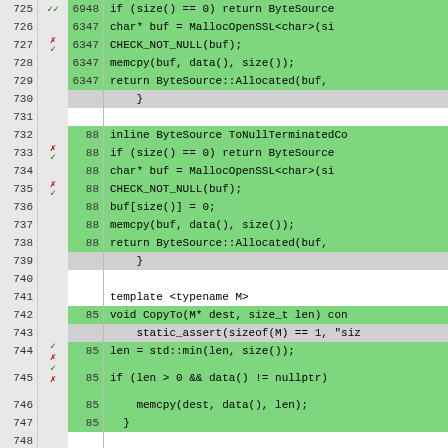[Figure (screenshot): Code coverage viewer showing C++ source code lines 725-750 with line numbers, coverage markers (checkmarks/X marks in red/green), execution counts, and highlighted (green/gray) code lines. Code includes ByteSource methods: ToByteSource, ToNullTerminatedCopy, CopyTo, and private section.]